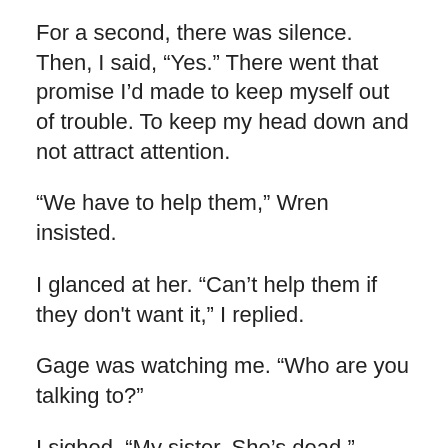For a second, there was silence. Then, I said, “Yes.” There went that promise I’d made to keep myself out of trouble. To keep my head down and not attract attention.
“We have to help them,” Wren insisted.
I glanced at her. “Can’t help them if they don't want it,” I replied.
Gage was watching me. “Who are you talking to?”
I sighed. “My sister. She’s dead.”
He paled a little. “Oh, shit. The stories about you are true?”
Roxi patted him on the arm. “It’s okay.”
Mace and Sarah exchanged glances, then looked at Gage, Roxi, Ben and Kevin. None of them wanted this